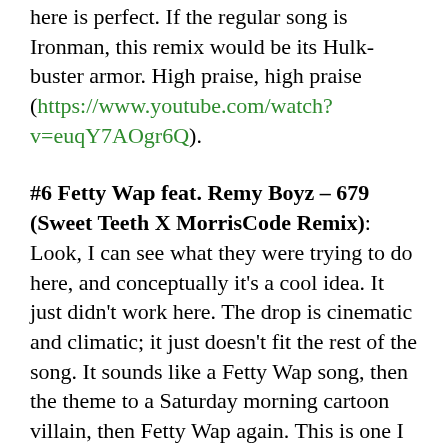here is perfect. If the regular song is Ironman, this remix would be its Hulkbuster armor. High praise, high praise (https://www.youtube.com/watch?v=euqY7AOgr6Q).
#6 Fetty Wap feat. Remy Boyz – 679 (Sweet Teeth X MorrisCode Remix): Look, I can see what they were trying to do here, and conceptually it's a cool idea. It just didn't work here. The drop is cinematic and climatic; it just doesn't fit the rest of the song. It sounds like a Fetty Wap song, then the theme to a Saturday morning cartoon villain, then Fetty Wap again. This is one I want to like, but I don't